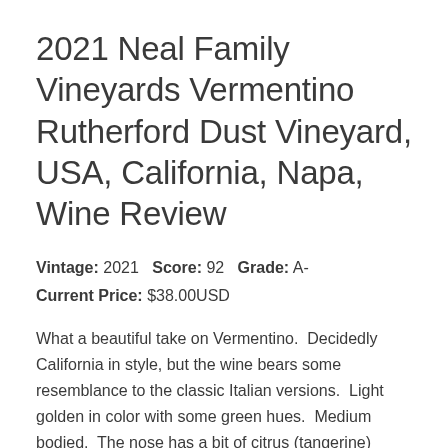2021 Neal Family Vineyards Vermentino Rutherford Dust Vineyard, USA, California, Napa, Wine Review
Vintage: 2021   Score: 92   Grade: A-
Current Price: $38.00USD
What a beautiful take on Vermentino.  Decidedly California in style, but the wine bears some resemblance to the classic Italian versions.  Light golden in color with some green hues.  Medium bodied.  The nose has a bit of citrus (tangerine) along with slight guava notes.  Slightly viscous.